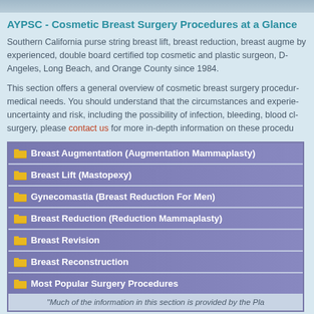AYPSC - Cosmetic Breast Surgery Procedures at a Glance
Southern California purse string breast lift, breast reduction, breast augme... by experienced, double board certified top cosmetic and plastic surgeon, D... Angeles, Long Beach, and Orange County since 1984.
This section offers a general overview of cosmetic breast surgery procedur... medical needs. You should understand that the circumstances and experie... uncertainty and risk, including the possibility of infection, bleeding, blood cl... surgery, please contact us for more in-depth information on these procedu...
Breast Augmentation (Augmentation Mammaplasty)
Breast Lift (Mastopexy)
Gynecomastia (Breast Reduction For Men)
Breast Reduction (Reduction Mammaplasty)
Breast Revision
Breast Reconstruction
Most Popular Surgery Procedures
"Much of the information in this section is provided by the Pla...